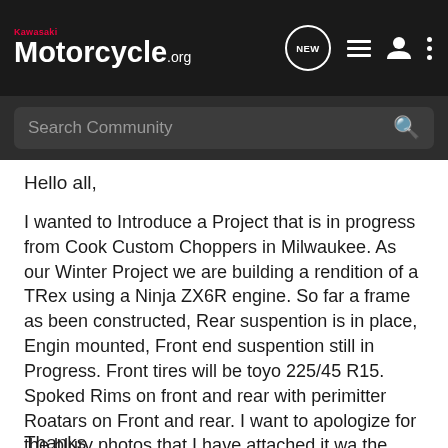Kawasaki Motorcycle.org
Hello all,
I wanted to Introduce a Project that is in progress from Cook Custom Choppers in Milwaukee. As our Winter Project we are building a rendition of a TRex using a Ninja ZX6R engine. So far a frame as been constructed, Rear suspention is in place, Engin mounted, Front end suspention still in Progress. Front tires will be toyo 225/45 R15. Spoked Rims on front and rear with perimitter Roatars on Front and rear. I want to apologize for the blury photos that I have attached it wa the best i could do with the camera Phone. We are looking for wiring diagrams and manuals for 1990 through 2000 ninjas in anyone has access to them. Thanks Updates to come as progress happens.
Thanks